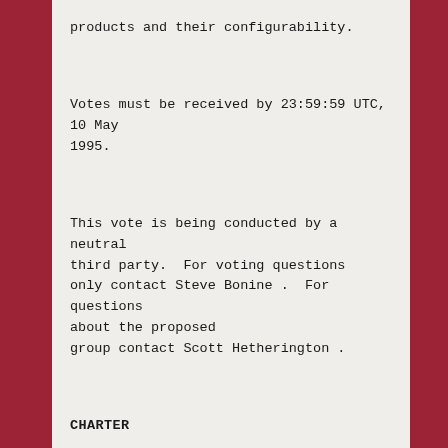products and their configurability.
Votes must be received by 23:59:59 UTC, 10 May 1995.
This vote is being conducted by a neutral third party.  For voting questions only contact Steve Bonine .  For questions about the proposed group contact Scott Hetherington .
CHARTER
comp.mail.zmail is intended to be a unmoderated newsgroup that allows Z-Mail users from around the world to discuss the technical aspects and other practical matters relati... to the use of Z-Mail